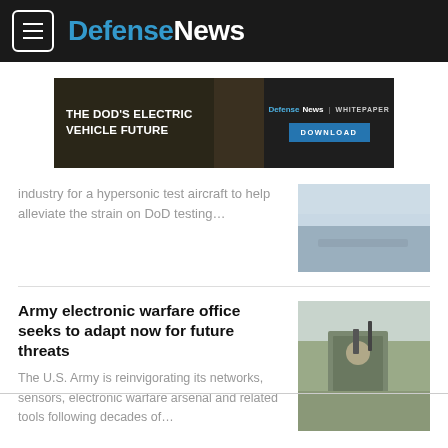DefenseNews
[Figure (screenshot): Advertisement banner: THE DOD'S ELECTRIC VEHICLE FUTURE - DefenseNews | WHITEPAPER - DOWNLOAD button]
industry for a hypersonic test aircraft to help alleviate the strain on DoD testing…
[Figure (photo): Aerial photo with sky and blurred motion]
Army electronic warfare office seeks to adapt now for future threats
The U.S. Army is reinvigorating its networks, sensors, electronic warfare arsenal and related tools following decades of…
[Figure (photo): Soldier in camouflage gear operating electronic equipment from a vehicle]